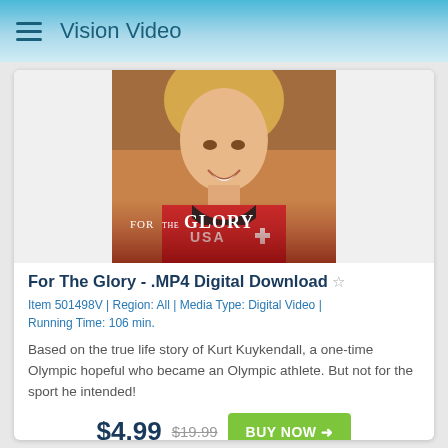Vision Video
[Figure (photo): Movie cover for 'For The Glory' showing a young athlete in a red USA jersey, smiling, with movie title text overlay reading 'FOR THE GLORY']
For The Glory - .MP4 Digital Download ☆
Item 501498V | Region: All | Media Type: Digital Video | Running Time: 106 min.
Based on the true life story of Kurt Kuykendall, a one-time Olympic hopeful who became an Olympic athlete. But not for the sport he intended!
$4.99  $19.99  BUY NOW →